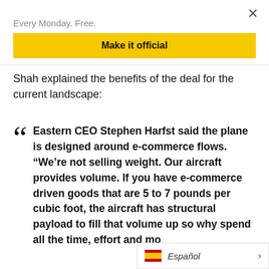Every Monday. Free.
Make it official
Shah explained the benefits of the deal for the current landscape:
Eastern CEO Stephen Harfst said the plane is designed around e-commerce flows. “We’re not selling weight. Our aircraft provides volume. If you have e-commerce driven goods that are 5 to 7 pounds per cubic foot, the aircraft has structural payload to fill that volume up so why spend all the time, effort and mo…